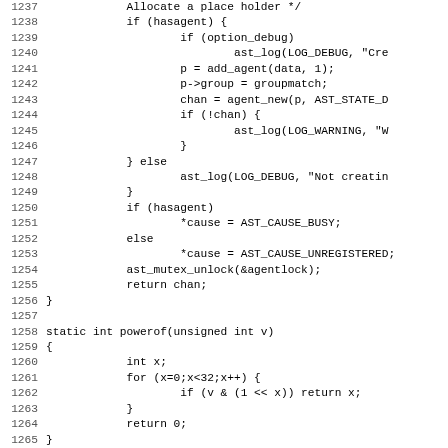Source code listing lines 1237-1268, showing C code for agent channel management and powerof function